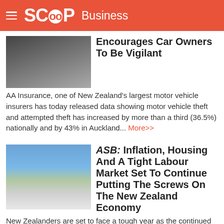SCOOP Business
Encourages Car Owners To Be Vigilant
AA Insurance, one of New Zealand's largest motor vehicle insurers has today released data showing motor vehicle theft and attempted theft has increased by more than a third (36.5%) nationally and by 43% in Auckland... More>>
ASB: Inflation, Housing And A Tight Labour Market Set To Continue Putting The Screws On The New Zealand Economy
New Zealanders are set to face a tough year as the continued pressures of inflation, housing and a tight labour market combine, according to the latest ASB Quarterly Economic Forecast. Growth is set to be quite weak, with the economy potentially flirting with recession... More>>